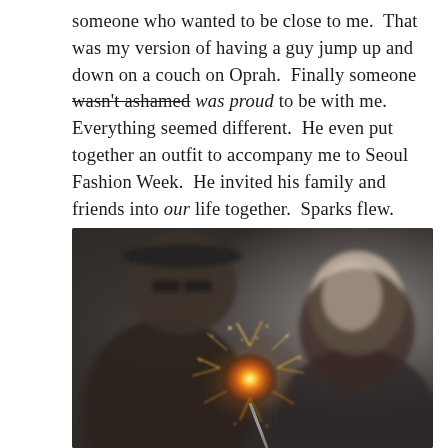someone who wanted to be close to me.  That was my version of having a guy jump up and down on a couch on Oprah.  Finally someone wasn't ashamed was proud to be with me.  Everything seemed different.  He even put together an outfit to accompany me to Seoul Fashion Week.  He invited his family and friends into our life together.  Sparks flew.
[Figure (photo): A couple holding a lit sparkler. The man is in the foreground on the left, slightly blurred, wearing dark clothing and a cap. A woman is on the right, smiling, also slightly blurred. The sparkler is in focus in the center of the image, glowing with golden sparks.]